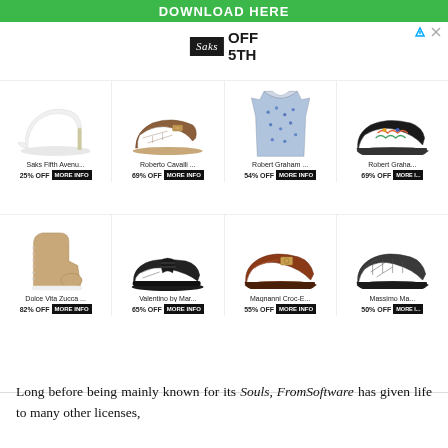[Figure (illustration): Green download banner at top]
[Figure (illustration): Saks Fifth Avenue OFF 5TH advertisement with 8 product items: white heel pump 25% OFF, brown mule 69% OFF, printed shirt 54% OFF, embroidered loafer 69% OFF, tan boot 82% OFF, black sneaker 65% OFF, brown loafer 55% OFF, dark loafer 50% OFF]
Long before being mainly known for its Souls, FromSoftware has given life to many other licenses,